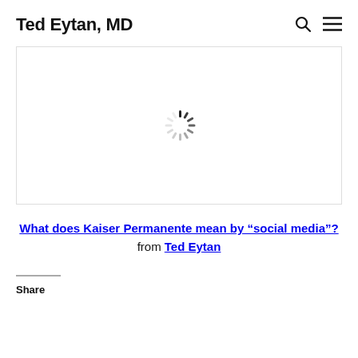Ted Eytan, MD
[Figure (screenshot): Loading spinner (animated content placeholder) inside a bordered embed area]
What does Kaiser Permanente mean by “social media”? from Ted Eytan
Share